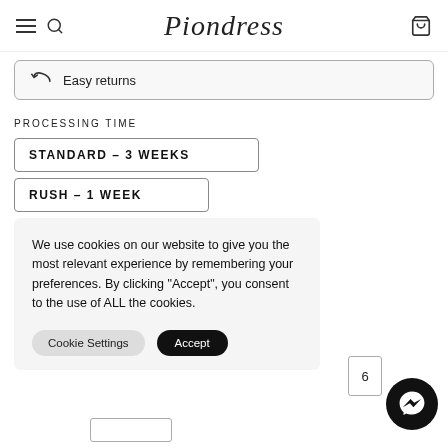Piondress
Easy returns
PROCESSING TIME
STANDARD – 3 WEEKS
RUSH – 1 WEEK
We use cookies on our website to give you the most relevant experience by remembering your preferences. By clicking "Accept", you consent to the use of ALL the cookies.
Cookie Settings
Accept